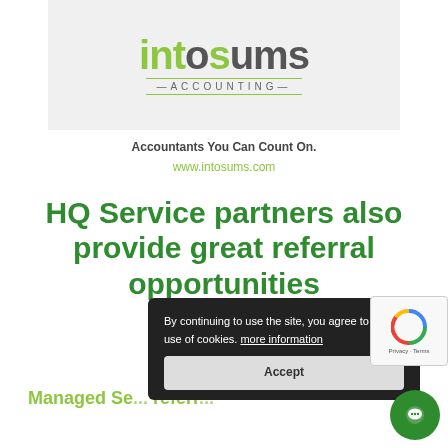[Figure (logo): IntoSums Accounting logo with green and gray text on light gray background]
Accountants You Can Count On.
www.intosums.com
HQ Service partners also provide great referral opportunities
Managed Se... referr...
[Figure (other): Cookie consent overlay: By continuing to use the site, you agree to the use of cookies. more information. Accept button.]
[Figure (other): reCAPTCHA widget with Privacy and Terms links]
[Figure (other): Green circular chat button in bottom right corner]